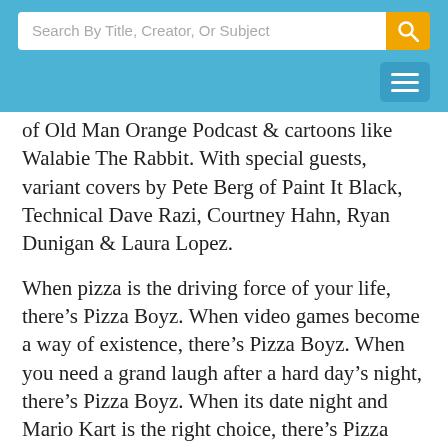Search By Title, Creator, Or Subject
of Old Man Orange Podcast & cartoons like Walabie The Rabbit. With special guests, variant covers by Pete Berg of Paint It Black, Technical Dave Razi, Courtney Hahn, Ryan Dunigan & Laura Lopez.
When pizza is the driving force of your life, there’s Pizza Boyz. When video games become a way of existence, there’s Pizza Boyz. When you need a grand laugh after a hard day’s night, there’s Pizza Boyz. When its date night and Mario Kart is the right choice, there’s Pizza Boyz. When your favorite flicks always involve dinosaurs, there’s Pizza Boyz. You get the drill. Fun times to be had from the creator of internet favorites such as Walabie The Rabbit, Drunk Batman, and Robin The Animated